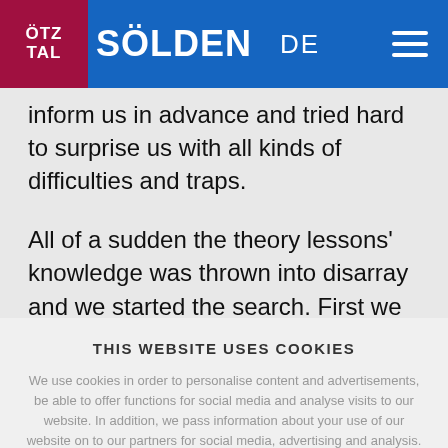ÖTZ TAL  SÖLDEN  DE
inform us in advance and tried hard to surprise us with all kinds of difficulties and traps.
All of a sudden the theory lessons' knowledge was thrown into disarray and we started the search. First we were
THIS WEBSITE USES COOKIES
We use cookies in order to personalise content and advertisements, be able to offer functions for social media and analyse visits to our website. In addition, we pass information about your use of our website on to our partners for social media, advertising and analysis. By using this website, you declare that you agree to the use of "Cookies". More details
CONTINUE